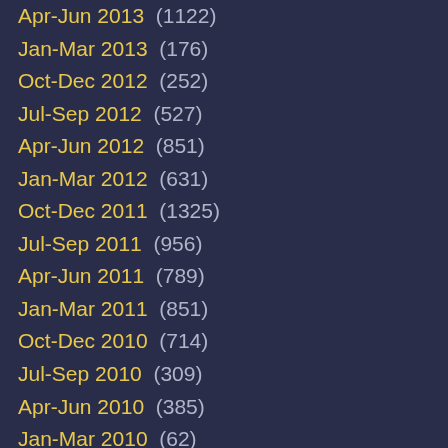Apr-Jun 2013  (1122)
Jan-Mar 2013  (176)
Oct-Dec 2012  (252)
Jul-Sep 2012  (527)
Apr-Jun 2012  (851)
Jan-Mar 2012  (631)
Oct-Dec 2011  (1325)
Jul-Sep 2011  (956)
Apr-Jun 2011  (789)
Jan-Mar 2011  (851)
Oct-Dec 2010  (714)
Jul-Sep 2010  (309)
Apr-Jun 2010  (385)
Jan-Mar 2010  (62)
Oct-Dec 2009  (112)
Jul-Sep 2009  (7)
Apr-Jun 2009  (9)
Jan-Mar 2009  (21)